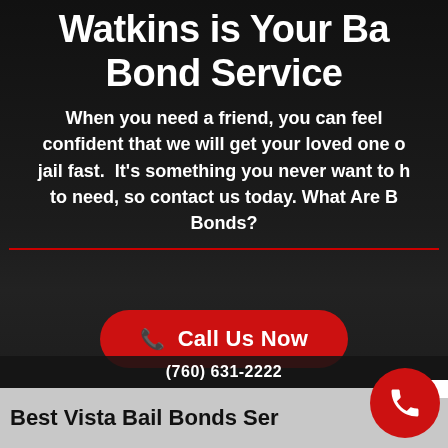Watkins is Your Best Bail Bond Service
When you need a friend, you can feel confident that we will get your loved one out of jail fast. It's something you never want to have to need, so contact us today. What Are Bail Bonds?
[Figure (other): Red call-to-action button labeled Call Us Now with phone icon]
(760) 631-2222
Best Vista Bail Bonds Ser